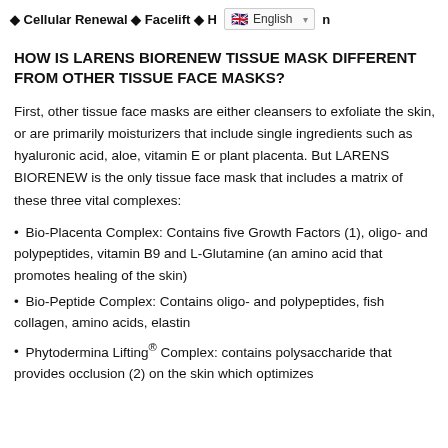◆ Cellular Renewal ◆ Facelift ◆ H … n [English dropdown]
HOW IS LARENS BIORENEW TISSUE MASK DIFFERENT FROM OTHER TISSUE FACE MASKS?
First, other tissue face masks are either cleansers to exfoliate the skin, or are primarily moisturizers that include single ingredients such as hyaluronic acid, aloe, vitamin E or plant placenta. But LARENS BIORENEW is the only tissue face mask that includes a matrix of these three vital complexes:
• Bio-Placenta Complex: Contains five Growth Factors (1), oligo- and polypeptides, vitamin B9 and L-Glutamine (an amino acid that promotes healing of the skin)
• Bio-Peptide Complex: Contains oligo- and polypeptides, fish collagen, amino acids, elastin
• Phytodermina Lifting® Complex: contains polysaccharide that provides occlusion (2) on the skin which optimizes